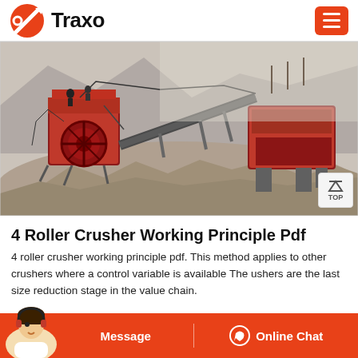Traxo
[Figure (photo): Industrial crusher/quarry machinery at a stone quarry site with large red crushing machines, conveyor belts, and piles of crushed stone/gravel in a rocky mountain environment with dust in the air.]
4 Roller Crusher Working Principle Pdf
4 roller crusher working principle pdf. This method applies to other crushers where a control variable is available The ushers are the last size reduction stage in the value chain.
repaired. We need to control the crusher carefully